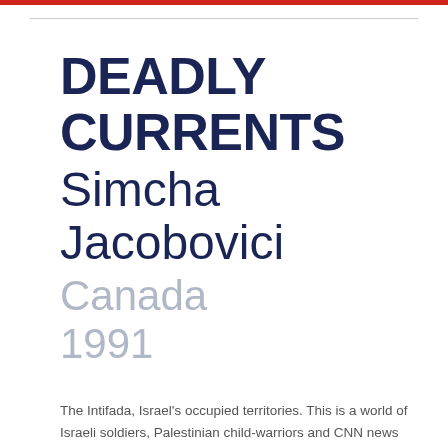DEADLY CURRENTS Simcha Jacobovici
Canada
1991
The Intifada, Israel's occupied territories. This is a world of Israeli soldiers, Palestinian child-warriors and CNN news crews, with politicians